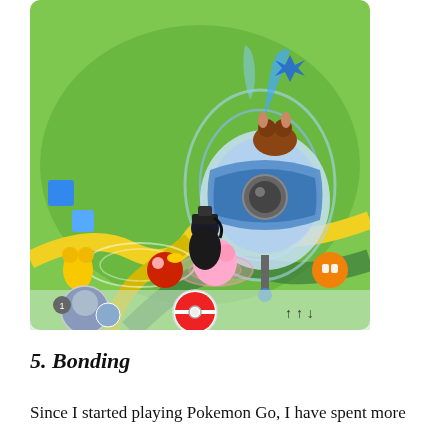[Figure (screenshot): Screenshot of the Pokemon Go mobile game showing the map view with a PokeStop or Gym (large blue spinning disc structure), a player character in black outfit, several Pokemon visible on the map including a red/orange one and pink one, blue cube icons, yellow path lines, an orange icon at bottom right, a red Pokeball button at bottom center, player avatar at bottom left with level 1 indicator, and green grass background.]
5. Bonding
Since I started playing Pokemon Go, I have spent more